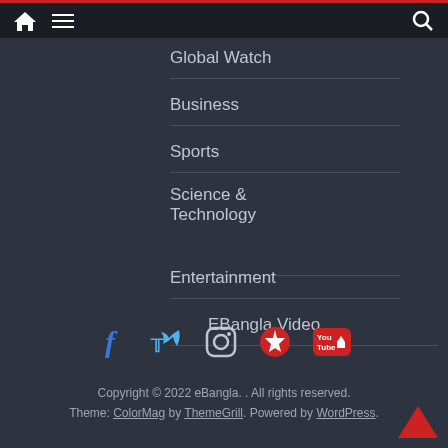Navigation header bar with home icon, menu icon, and search icon
Global Watch
Business
Sports
Science & Technology
Entertainment
EBangla Video
[Figure (infographic): Social media icons row: Facebook, Twitter, Instagram, Pinterest, YouTube]
Copyright © 2022 eBangla. . All rights reserved. Theme: ColorMag by ThemeGrill. Powered by WordPress.